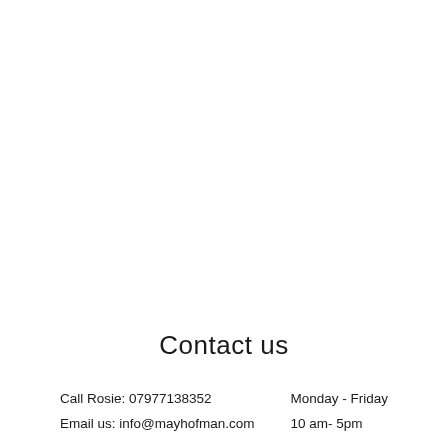Contact us
Call Rosie: 07977138352
Email us: info@mayhofman.com
Monday - Friday
10 am- 5pm